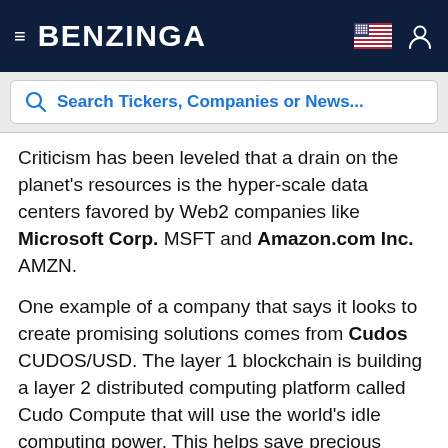BENZINGA
Search Tickers, Companies or News...
Criticism has been leveled that a drain on the planet's resources is the hyper-scale data centers favored by Web2 companies like Microsoft Corp. MSFT and Amazon.com Inc. AMZN.
One example of a company that says it looks to create promising solutions comes from Cudos CUDOS/USD. The layer 1 blockchain is building a layer 2 distributed computing platform called Cudo Compute that will use the world's idle computing power. This helps save precious resources and may help the world move away from the hyper-scale model favored by Web2.